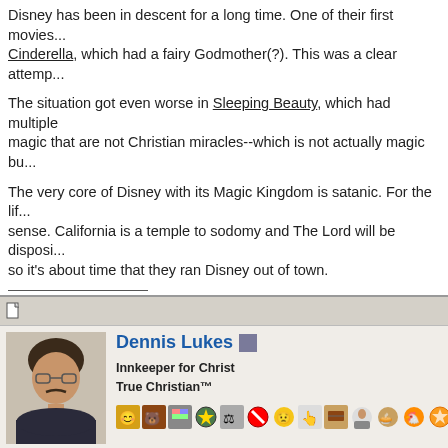Disney has been in descent for a long time. One of their first movies... Cinderella, which had a fairy Godmother(?). This was a clear attempt...
The situation got even worse in Sleeping Beauty, which had multiple magic that are not Christian miracles--which is not actually magic bu...
The very core of Disney with its Magic Kingdom is satanic. For the li... sense. California is a temple to sodomy and The Lord will be disposi... so it's about time that they ran Disney out of town.
His left hand should be under my head, and his right hand should en...
Guns For God and the Economy [emoji decorations]
Dennis Lukes
Innkeeper for Christ
True Christian™
[Figure (other): User profile photo of Dennis Lukes, a middle-aged man with glasses and mustache in a suit]
[Figure (other): Row of forum badge/emoji icons]